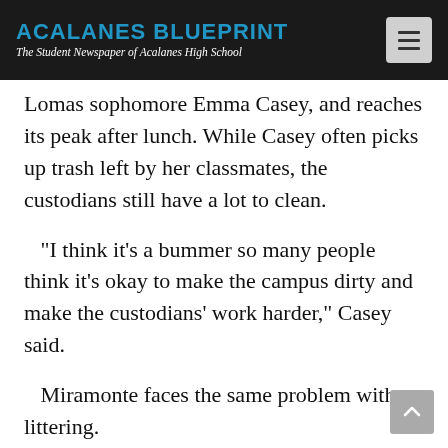ACALANES BLUEPRINT
The Student Newspaper of Acalanes High School
Lomas sophomore Emma Casey, and reaches its peak after lunch. While Casey often picks up trash left by her classmates, the custodians still have a lot to clean.
“I think it’s a bummer so many people think it’s okay to make the campus dirty and make the custodians’ work harder,” Casey said.
Miramonte faces the same problem with littering.
“The custodians do a good job of clearing